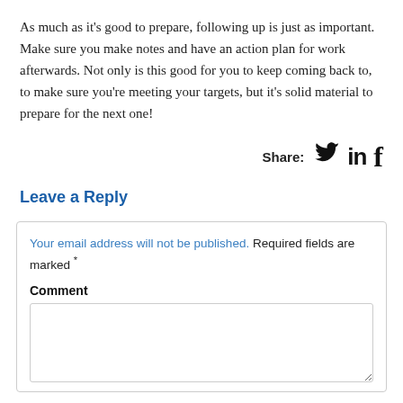As much as it's good to prepare, following up is just as important. Make sure you make notes and have an action plan for work afterwards. Not only is this good for you to keep coming back to, to make sure you're meeting your targets, but it's solid material to prepare for the next one!
Share:
Leave a Reply
Your email address will not be published. Required fields are marked *
Comment